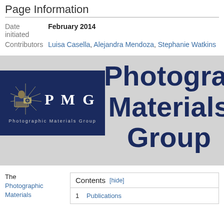Page Information
| Field | Value |
| --- | --- |
| Date initiated | February 2014 |
| Contributors | Luisa Casella, Alejandra Mendoza, Stephanie Watkins |
[Figure (logo): Photographic Materials Group (PMG) banner with logo on dark blue background and large title text 'Photographic Materials Group' on grey background]
The Photographic Materials
| Contents |
| --- |
| 1 | Publications |